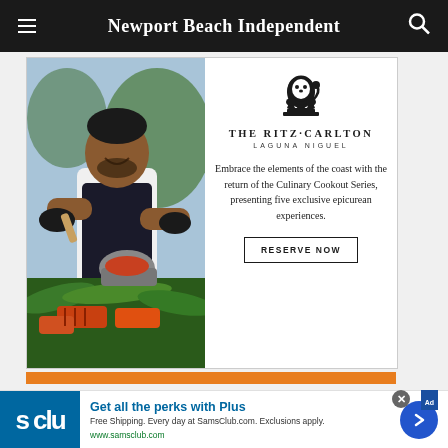Newport Beach Independent
[Figure (photo): Ritz-Carlton Laguna Niguel advertisement featuring a chef preparing food at an outdoor culinary event with grilled items on banana leaves]
[Figure (infographic): Sam's Club advertisement: Get all the perks with Plus. Free Shipping. Every day at SamsClub.com. Exclusions apply. www.samsclub.com]